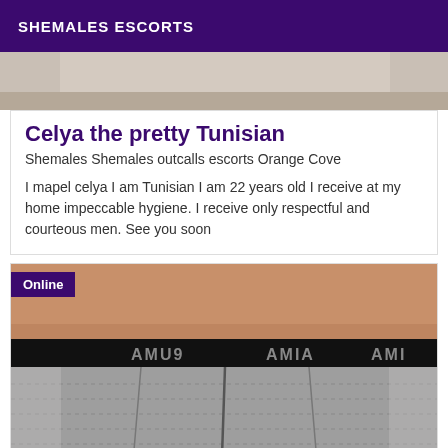SHEMALES ESCORTS
[Figure (photo): Top portion of a photo, light background]
Celya the pretty Tunisian
Shemales Shemales outcalls escorts Orange Cove
I mapel celya I am Tunisian I am 22 years old I receive at my home impeccable hygiene. I receive only respectful and courteous men. See you soon
[Figure (photo): Photo showing person from behind wearing Puma underwear with 'Online' badge overlay]